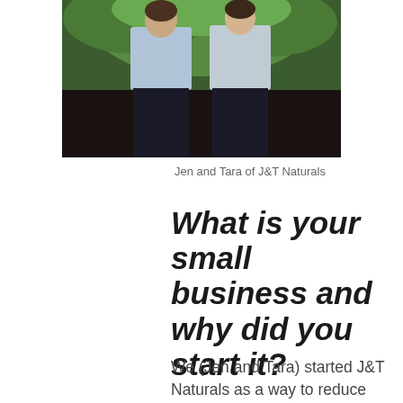[Figure (photo): Photo of two people (Jen and Tara) standing outdoors with green foliage background, wearing casual clothes]
Jen and Tara of J&T Naturals
What is your small business and why did you start it?
We (Jen and Tara) started J&T Naturals as a way to reduce the harmful effects that everyday products can have on health. After learning just